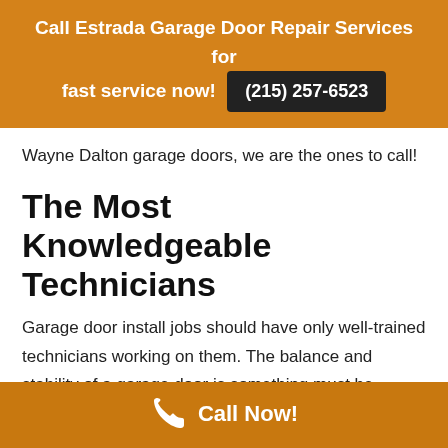Call Estrada Garage Door Repair Services for fast service now! (215) 257-6523
Wayne Dalton garage doors, we are the ones to call!
The Most Knowledgeable Technicians
Garage door install jobs should have only well-trained technicians working on them. The balance and stability of a garage door is something must be precise for the door to last. This means thorough preparation must be done in advance. You canít just
Call Now!